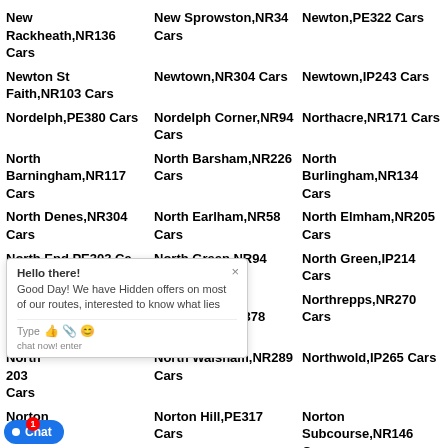New Rackheath,NR136 Cars
New Sprowston,NR34 Cars
Newton,PE322 Cars
Newton St Faith,NR103 Cars
Newtown,NR304 Cars
Newtown,IP243 Cars
Nordelph,PE380 Cars
Nordelph Corner,NR94 Cars
Northacre,NR171 Cars
North Barningham,NR117 Cars
North Barsham,NR226 Cars
North Burlingham,NR134 Cars
North Denes,NR304 Cars
North Earlham,NR58 Cars
North Elmham,NR205 Cars
North End,PE302 Cars
North Green,NR94 Cars
North Green,IP214 Cars
North Pickenham,PE378 Cars
Northrepps,NR270 Cars
North Walsham,NR289 Cars
Northwold,IP265 Cars
Norton Hill,PE317 Cars
Norton Subcourse,NR146 Cars
Old Beetley,NR204 Cars
Old Brigg,NR192 Cars